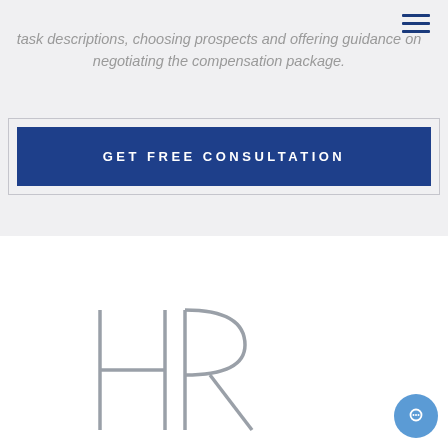task descriptions, choosing prospects and offering guidance on negotiating the compensation package.
GET FREE CONSULTATION
[Figure (logo): HR logo text in large light gray letters]
[Figure (other): Blue circular chat/support button with smiley face icon]